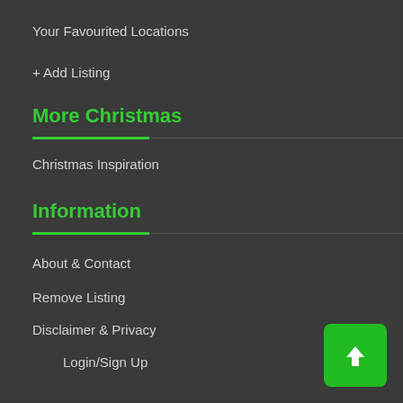Your Favourited Locations
+ Add Listing
More Christmas
Christmas Inspiration
Information
About & Contact
Remove Listing
Disclaimer & Privacy
Login/Sign Up